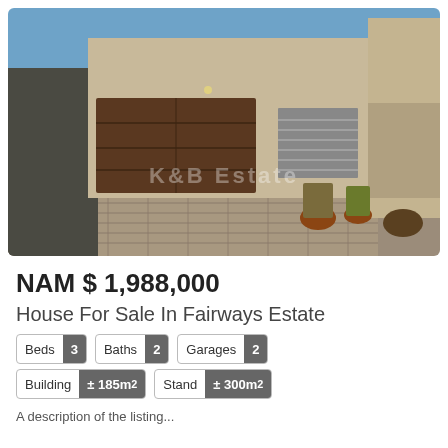[Figure (photo): Exterior photo of a modern house with a double garage door (dark wood/brown), paved driveway with brick pavers, concrete facade, blue sky. Watermark text 'K&B Estate' visible in center of image.]
NAM $ 1,988,000
House For Sale In Fairways Estate
Beds 3   Baths 2   Garages 2
Building ± 185m²   Stand ± 300m²
A description of the listing...